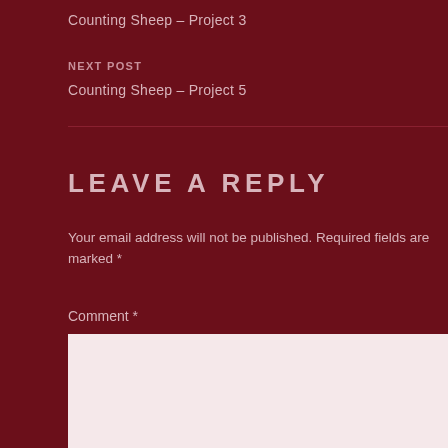Counting Sheep – Project 3
NEXT POST
Counting Sheep – Project 5
LEAVE A REPLY
Your email address will not be published. Required fields are marked *
Comment *